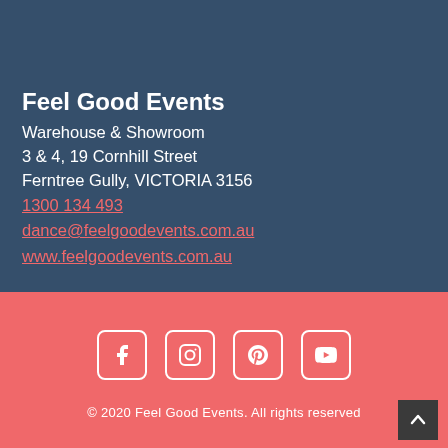Feel Good Events
Warehouse & Showroom
3 & 4, 19 Cornhill Street
Ferntree Gully, VICTORIA 3156
1300 134 493
dance@feelgoodevents.com.au
www.feelgoodevents.com.au
[Figure (other): Social media icons: Facebook, Instagram, Pinterest, YouTube]
© 2020 Feel Good Events. All rights reserved